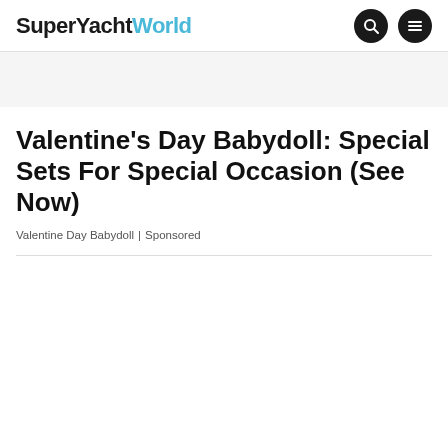SuperYachtWorld
Valentine's Day Babydoll: Special Sets For Special Occasion (See Now)
Valentine Day Babydoll | Sponsored